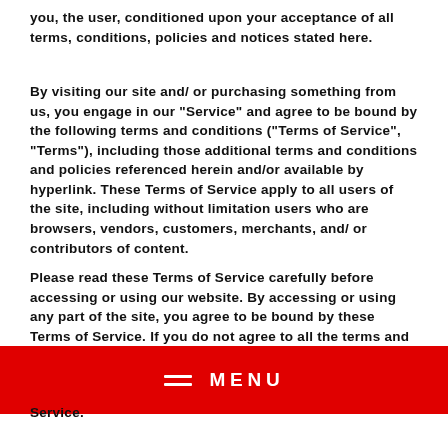you, the user, conditioned upon your acceptance of all terms, conditions, policies and notices stated here.
By visiting our site and/ or purchasing something from us, you engage in our “Service” and agree to be bound by the following terms and conditions (“Terms of Service”, “Terms”), including those additional terms and conditions and policies referenced herein and/or available by hyperlink. These Terms of Service apply to all users of the site, including without limitation users who are browsers, vendors, customers, merchants, and/ or contributors of content.
Please read these Terms of Service carefully before accessing or using our website. By accessing or using any part of the site, you agree to be bound by these Terms of Service. If you do not agree to all the terms and conditions
[Figure (other): Red menu bar with hamburger icon and MENU text]
Service.